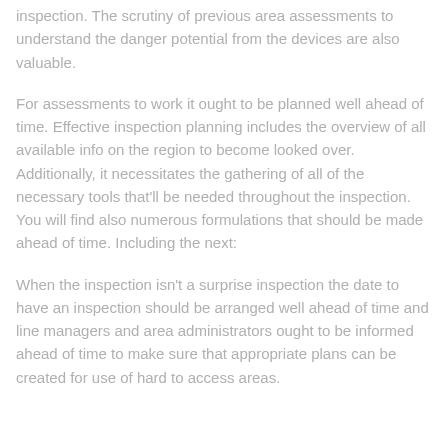inspection. The scrutiny of previous area assessments to understand the danger potential from the devices are also valuable.
For assessments to work it ought to be planned well ahead of time. Effective inspection planning includes the overview of all available info on the region to become looked over. Additionally, it necessitates the gathering of all of the necessary tools that'll be needed throughout the inspection. You will find also numerous formulations that should be made ahead of time. Including the next:
When the inspection isn't a surprise inspection the date to have an inspection should be arranged well ahead of time and line managers and area administrators ought to be informed ahead of time to make sure that appropriate plans can be created for use of hard to access areas.